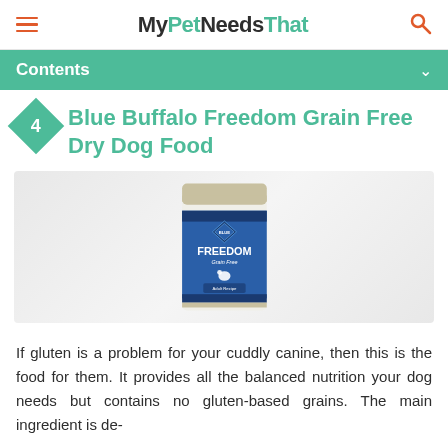MyPetNeedsThat
Contents
Blue Buffalo Freedom Grain Free Dry Dog Food
[Figure (photo): Blue Buffalo Freedom Grain Free dog food bag, blue and white packaging with diamond logo and 'FREEDOM Grain Free Adult Recipe' text]
If gluten is a problem for your cuddly canine, then this is the food for them. It provides all the balanced nutrition your dog needs but contains no gluten-based grains. The main ingredient is de-